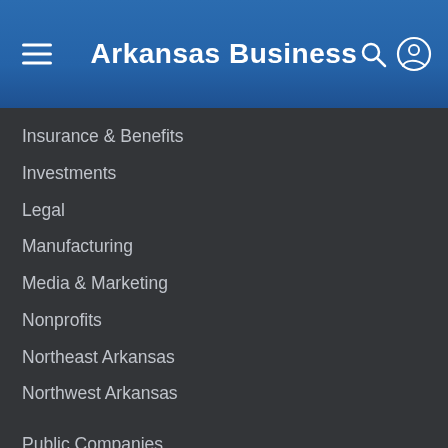Arkansas Business
Insurance & Benefits
Investments
Legal
Manufacturing
Media & Marketing
Nonprofits
Northeast Arkansas
Northwest Arkansas
Public Companies
Real Estate
Restaurants & Food
Retail
Small Business
Technology
Tourism
Transportation
Contact